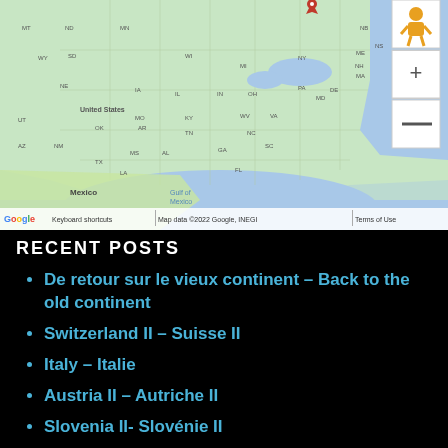[Figure (map): Google Maps screenshot showing the United States, Mexico, and Gulf of Mexico. A red location pin is visible near the northeastern US. Map includes zoom controls (+/-) and a Street View person icon. Bottom bar shows: Keyboard shortcuts | Map data ©2022 Google, INEGI | Terms of Use]
RECENT POSTS
De retour sur le vieux continent – Back to the old continent
Switzerland II – Suisse II
Italy – Italie
Austria II – Autriche II
Slovenia II- Slovénie II